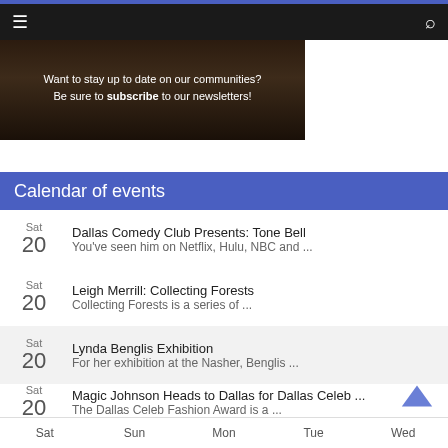Navigation bar with hamburger menu and search icon
[Figure (photo): Dark banner image with text: Want to stay up to date on our communities? Be sure to subscribe to our newsletters!]
Calendar of events
Sat 20 | Dallas Comedy Club Presents: Tone Bell | You've seen him on Netflix, Hulu, NBC and ...
Sat 20 | Leigh Merrill: Collecting Forests | Collecting Forests is a series of ...
Sat 20 | Liliana Bloch Gallery: "Collecting Forests" by ... | "Collecting Forests" is a series of ...
Sat 20 | Lynda Benglis Exhibition | For her exhibition at the Nasher, Benglis ...
Sat 20 | Magic Johnson Heads to Dallas for Dallas Celeb ... | The Dallas Celeb Fashion Award is a ...
Sat  Sun  Mon  Tue  Wed